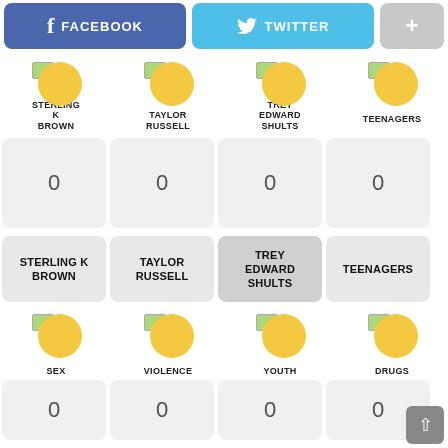[Figure (screenshot): Facebook share button (blue with f icon)]
[Figure (screenshot): Twitter share button (blue with bird icon)]
[Figure (screenshot): Plus/more button (gray)]
[Figure (infographic): Four avatar icons with labels: STERLING K BROWN, TAYLOR RUSSELL, TREY EDWARD SHULTS, TEENAGERS]
| 0 | 0 | 0 | 0 |
| STERLING K BROWN | TAYLOR RUSSELL | TREY EDWARD SHULTS | TEENAGERS |
[Figure (infographic): Four avatar icons with labels: SEX, VIOLENCE, YOUTH, DRUGS]
| 0 | 0 | 0 | 0 |